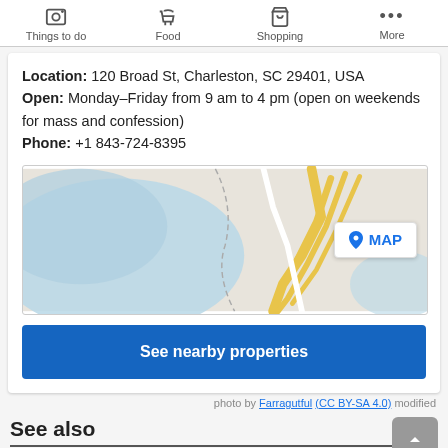Things to do | Food | Shopping | More
Location: 120 Broad St, Charleston, SC 29401, USA
Open: Monday–Friday from 9 am to 4 pm (open on weekends for mass and confession)
Phone: +1 843-724-8395
[Figure (map): Map showing location near Charleston SC waterfront with blue river/water area and yellow roads converging, with a MAP button overlay]
See nearby properties
photo by Farragutful (CC BY-SA 4.0) modified
See also
10 Places Locals Love to Eat in